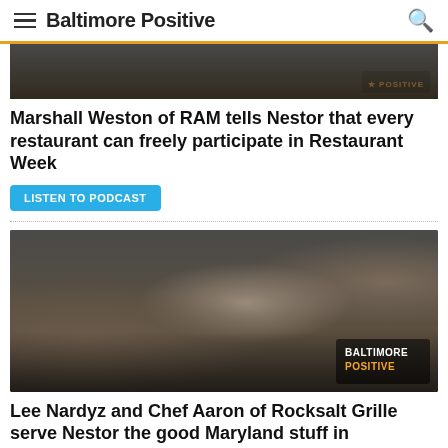Baltimore Positive
[Figure (photo): Thumbnail image with Baltimore Positive watermark badge in lower right corner]
Marshall Weston of RAM tells Nestor that every restaurant can freely participate in Restaurant Week
LISTEN TO PODCAST
[Figure (photo): Three men wearing headsets/microphones inside a restaurant, one holding a plate of food including crab cakes; Baltimore Positive logo badge in lower right]
Lee Nardyz and Chef Aaron of Rocksalt Grille serve Nestor the good Maryland stuff in Westminster